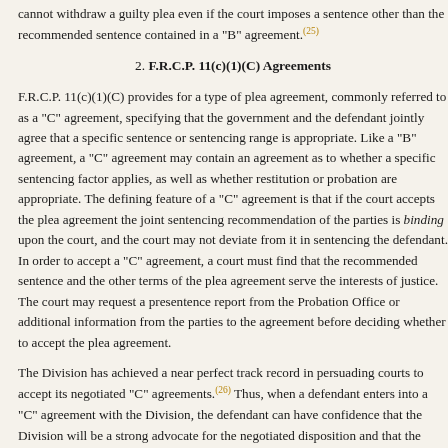cannot withdraw a guilty plea even if the court imposes a sentence other than the recommended sentence contained in a "B" agreement.(25)
2. F.R.C.P. 11(c)(1)(C) Agreements
F.R.C.P. 11(c)(1)(C) provides for a type of plea agreement, commonly referred to as a "C" agreement, specifying that the government and the defendant jointly agree that a specific sentence or sentencing range is appropriate. Like a "B" agreement, a "C" agreement may contain an agreement as to whether a specific sentencing factor applies, as well as whether restitution or probation are appropriate. The defining feature of a "C" agreement is that if the court accepts the plea agreement the joint sentencing recommendation of the parties is binding upon the court, and the court may not deviate from it in sentencing the defendant. In order to accept a "C" agreement, a court must find that the recommended sentence and the other terms of the plea agreement serve the interests of justice. The court may request a presentence report from the Probation Office or additional information from the parties to the agreement before deciding whether to accept the plea agreement.
The Division has achieved a near perfect track record in persuading courts to accept its negotiated "C" agreements.(26) Thus, when a defendant enters into a "C" agreement with the Division, the defendant can have confidence that the Division will be a strong advocate for the negotiated disposition and that the court is highly likely to go along with the recommendation of the parties. This high degree of certainty is particularly attractive to foreign corporate and individual defendants who might be leery of pleading guilty, providing cooperation, and submitting to the jurisdiction of U.S. courts without the certainty that "C" agreements provide.
Although we do not require the Division to specify if the recommended sentences